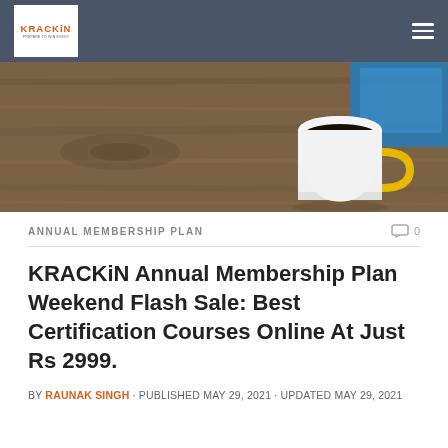KRACKiN
[Figure (photo): Overhead view of a wooden desk with a white coffee cup with yellow handle on the right side and a blue book/tablet in the upper right corner]
ANNUAL MEMBERSHIP PLAN
KRACKiN Annual Membership Plan Weekend Flash Sale: Best Certification Courses Online At Just Rs 2999.
BY RAUNAK SINGH · PUBLISHED MAY 29, 2021 · UPDATED MAY 29, 2021